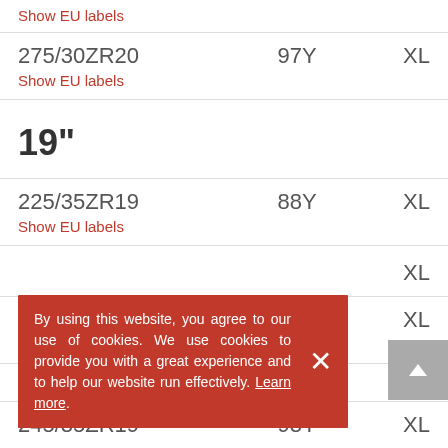Show EU labels
275/30ZR20   97Y   XL
Show EU labels
19"
225/35ZR19   88Y   XL
Show EU labels
XL
By using this website, you agree to our use of cookies. We use cookies to provide you with a great experience and to help our website run effectively. Learn more
235/35ZR19   91Y   XL
Show EU labels
245/35ZR19   93Y   XL